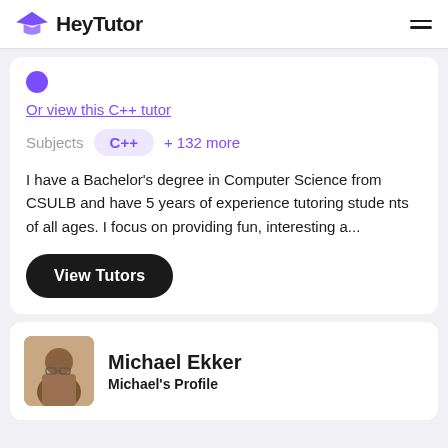HeyTutor
Or view this C++ tutor
Subjects  C++  + 132 more
I have a Bachelor's degree in Computer Science from CSULB and have 5 years of experience tutoring students of all ages. I focus on providing fun, interesting a...
View Tutors
Michael Ekker
Michael's Profile